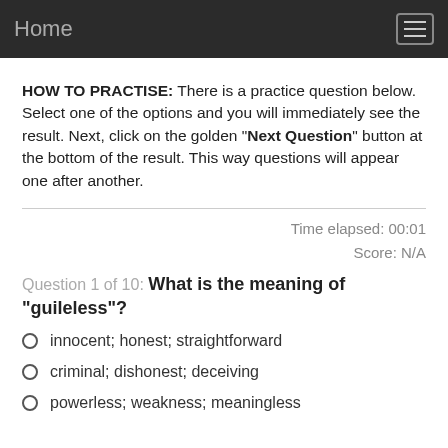Home
HOW TO PRACTISE: There is a practice question below. Select one of the options and you will immediately see the result. Next, click on the golden "Next Question" button at the bottom of the result. This way questions will appear one after another.
Time elapsed: 00:01
Score: N/A
Question 1 of 10: What is the meaning of "guileless"?
innocent; honest; straightforward
criminal; dishonest; deceiving
powerless; weakness; meaningless